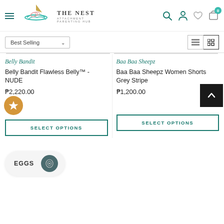[Figure (screenshot): The Nest Attachment Parenting Hub website header with logo (teal leaf/boat illustration with gold triangle), site name, and navigation icons (search, account, wishlist, cart with 0 badge)]
[Figure (screenshot): Sort dropdown showing 'Best Selling' with down arrow, and view toggle buttons (list and grid icons)]
Belly Bandit
Belly Bandit Flawless Belly™ - NUDE
₱2,220.00
SELECT OPTIONS
Baa Baa Sheepz
Baa Baa Sheepz Women Shorts Grey Stripe
₱1,200.00
SELECT OPTIONS
[Figure (screenshot): EGGS badge with teal circular icon at bottom of page]